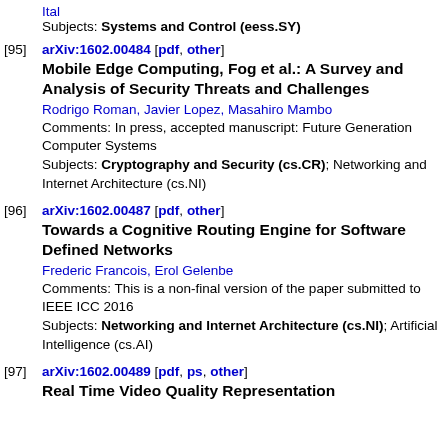Subjects: Systems and Control (eess.SY)
[95] arXiv:1602.00484 [pdf, other]
Mobile Edge Computing, Fog et al.: A Survey and Analysis of Security Threats and Challenges
Rodrigo Roman, Javier Lopez, Masahiro Mambo
Comments: In press, accepted manuscript: Future Generation Computer Systems
Subjects: Cryptography and Security (cs.CR); Networking and Internet Architecture (cs.NI)
[96] arXiv:1602.00487 [pdf, other]
Towards a Cognitive Routing Engine for Software Defined Networks
Frederic Francois, Erol Gelenbe
Comments: This is a non-final version of the paper submitted to IEEE ICC 2016
Subjects: Networking and Internet Architecture (cs.NI); Artificial Intelligence (cs.AI)
[97] arXiv:1602.00489 [pdf, ps, other]
Real Time Video Quality Representation